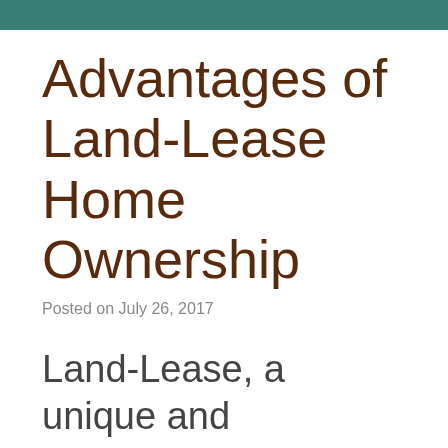Advantages of Land-Lease Home Ownership
Posted on July 26, 2017
Land-Lease, a unique and affordable way to buy and enjoy a home in